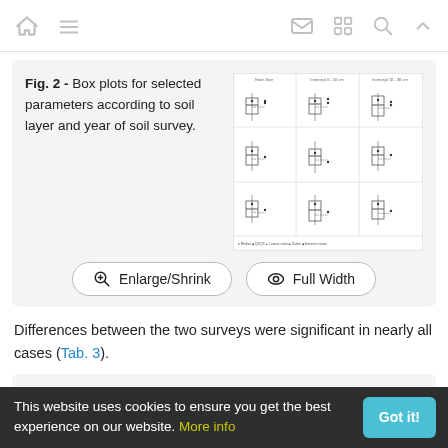Navigation bar with home, menu, mail, grid, search, and up icons
Fig. 2 - Box plots for selected parameters according to soil layer and year of soil survey.
[Figure (other): Thumbnail image of a 3x3 grid of box plots for selected parameters according to soil layer and year of soil survey.]
Enlarge/Shrink   Full Width
Differences between the two surveys were significant in nearly all cases (Tab. 3).
This website uses cookies to ensure you get the best experience on our website. More info